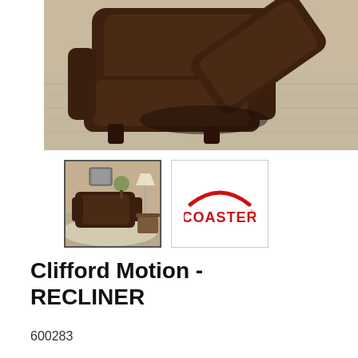[Figure (photo): Dark brown leather recliner chair shown in reclined position on a light hardwood floor with a cream area rug]
[Figure (photo): Thumbnail image of the Clifford Motion recliner chair in a room setting]
[Figure (logo): Coaster brand logo in red with an arc above the text COASTER]
Clifford Motion - RECLINER
600283